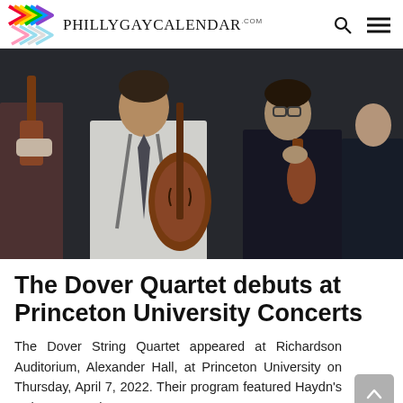PhillyGayCalendar.com
[Figure (photo): The Dover String Quartet posed against a dark textured background, holding their instruments — two violins, a cello, and a viola]
The Dover Quartet debuts at Princeton University Concerts
The Dover String Quartet appeared at Richardson Auditorium, Alexander Hall, at Princeton University on Thursday, April 7, 2022. Their program featured Haydn's String Quartet in